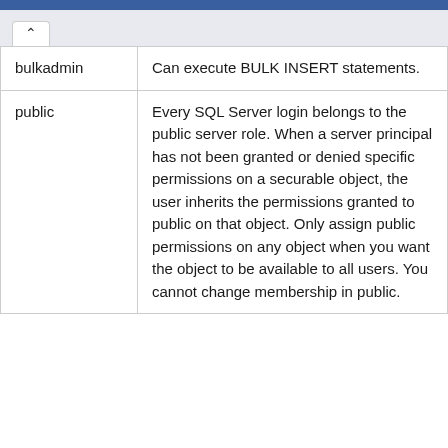| Role | Description |
| --- | --- |
| bulkadmin | Can execute BULK INSERT statements. |
| public | Every SQL Server login belongs to the public server role. When a server principal has not been granted or denied specific permissions on a securable object, the user inherits the permissions granted to public on that object. Only assign public permissions on any object when you want the object to be available to all users. You cannot change membership in public. |